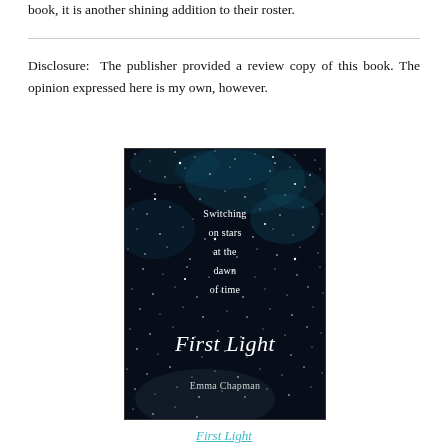book, it is another shining addition to their roster.
Disclosure: The publisher provided a review copy of this book. The opinion expressed here is my own, however.
[Figure (photo): Book cover of 'First Light' by Emma Chapman. Dark starfield background with text reading 'Switching on stars at the dawn of time' and the title 'First Light' in large italic font at the bottom.]
First Light